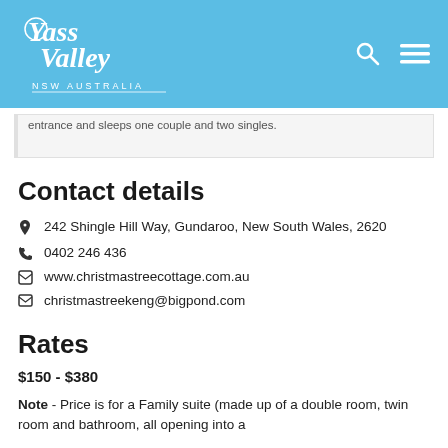[Figure (logo): Yass Valley NSW Australia logo in white script on blue background with search and menu icons]
entrance and sleeps one couple and two singles.
Contact details
242 Shingle Hill Way, Gundaroo, New South Wales, 2620
0402 246 436
www.christmastreecottage.com.au
christmastreekeng@bigpond.com
Rates
$150 - $380
Note - Price is for a Family suite (made up of a double room, twin room and bathroom, all opening into a